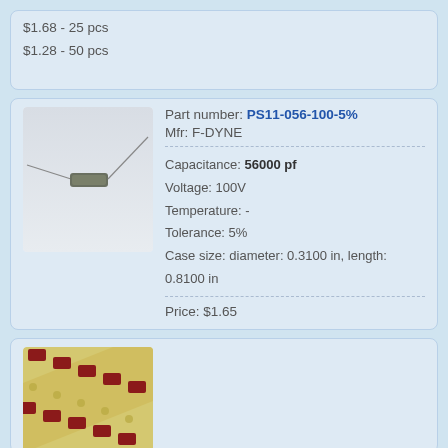$1.68 - 25 pcs
$1.28 - 50 pcs
Part number: PS11-056-100-5%
Mfr: F-DYNE
Capacitance: 56000 pf
Voltage: 100V
Temperature: -
Tolerance: 5%
Case size: diameter: 0.3100 in, length: 0.8100 in
Price: $1.65
[Figure (photo): Photo of an axial-lead capacitor component with two wire leads extending from a small cylindrical body]
[Figure (photo): Photo of SMD capacitors on a carrier tape reel, showing red rectangular components arranged diagonally on a yellow/gold tape strip]